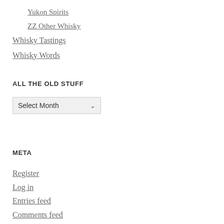Yukon Spirits
ZZ Other Whisky
Whisky Tastings
Whisky Words
ALL THE OLD STUFF
Select Month
META
Register
Log in
Entries feed
Comments feed
WordPress.com